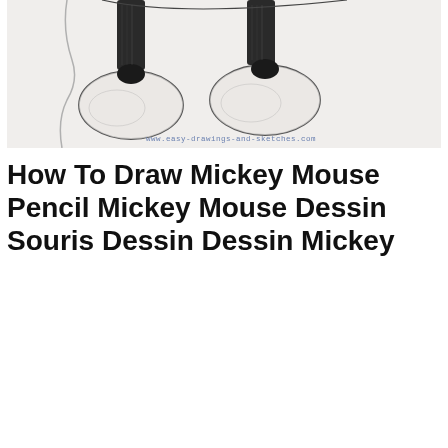[Figure (illustration): Pencil sketch illustration showing the lower half of Mickey Mouse — his legs in black shorts, large round shoes, and a curling tail, with the watermark 'www.easy-drawings-and-sketches.com' in the lower right corner.]
How To Draw Mickey Mouse Pencil Mickey Mouse Dessin Souris Dessin Dessin Mickey